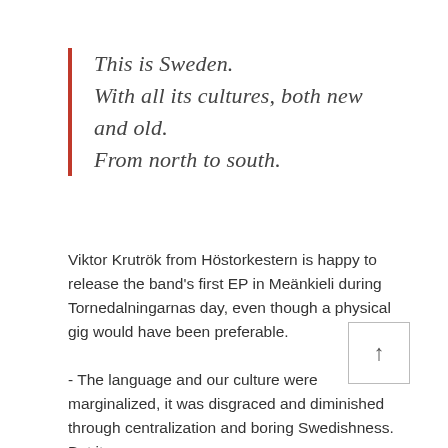This is Sweden.
With all its cultures, both new and old.
From north to south.
Viktor Krutrök from Höstorkestern is happy to release the band's first EP in Meänkieli during Tornedalningarnas day, even though a physical gig would have been preferable.
- The language and our culture were marginalized, it was disgraced and diminished through centralization and boring Swedishness. But it never